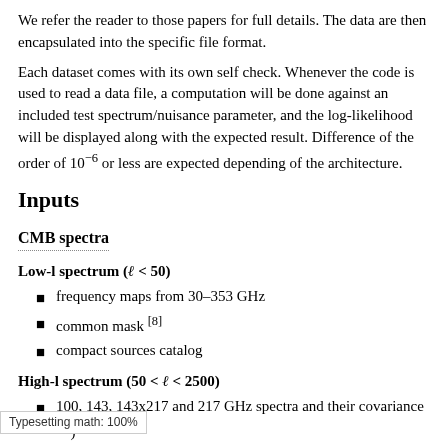We refer the reader to those papers for full details. The data are then encapsulated into the specific file format.
Each dataset comes with its own self check. Whenever the code is used to read a data file, a computation will be done against an included test spectrum/nuisance parameter, and the log-likelihood will be displayed along with the expected result. Difference of the order of 10^{-6} or less are expected depending of the architecture.
Inputs
CMB spectra
Low-l spectrum (ℓ < 50)
frequency maps from 30–353 GHz
common mask [8]
compact sources catalog
High-l spectrum (50 < ℓ < 2500)
100, 143, 143x217 and 217 GHz spectra and their covariance [9])
best fit foreground templates and inter-frequency calibration